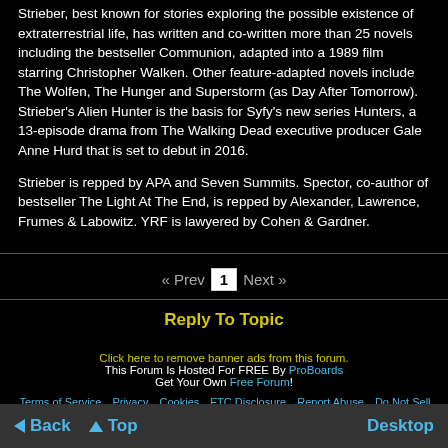Strieber, best known for stories exploring the possible existence of extraterrestrial life, has written and co-written more than 25 novels including the bestseller Communion, adapted into a 1989 film starring Christopher Walken. Other feature-adapted novels include The Wolfen, The Hunger and Superstorm (as Day After Tomorrow). Strieber's Alien Hunter is the basis for Syfy's new series Hunters, a 13-episode drama from The Walking Dead executive producer Gale Anne Hurd that is set to debut in 2016.
Strieber is repped by APA and Seven Summits. Spector, co-author of bestseller The Light At The End, is repped by Alexander, Lawrence, Frumes & Labowitz. YRF is lawyered by Cohen & Gardner.
« Prev  1  Next »
Reply To Topic
Click here to remove banner ads from this forum.
This Forum Is Hosted For FREE By ProBoards
Get Your Own Free Forum!
Terms of Service  Privacy  Cookies  FTC Disclosure  Report Abuse  Do Not Sell My Personal Information
◄ Back  ▲ Top  Desktop